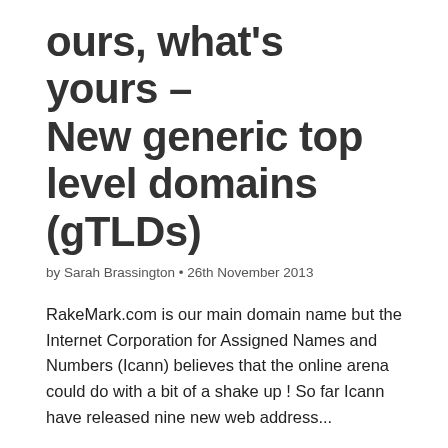ours, what's yours – New generic top level domains (gTLDs)
by Sarah Brassington • 26th November 2013
RakeMark.com is our main domain name but the Internet Corporation for Assigned Names and Numbers (Icann) believes that the online arena could do with a bit of a shake up ! So far Icann have released nine new web address...
[Figure (other): Blue read more button]